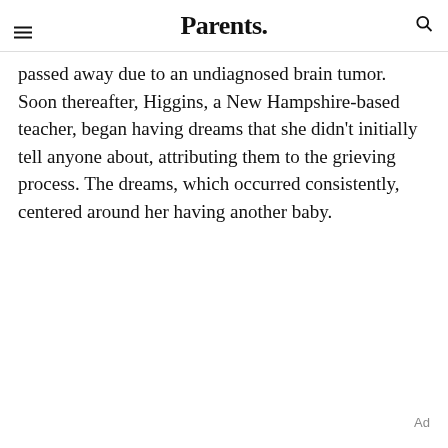Parents.
passed away due to an undiagnosed brain tumor. Soon thereafter, Higgins, a New Hampshire-based teacher, began having dreams that she didn't initially tell anyone about, attributing them to the grieving process. The dreams, which occurred consistently, centered around her having another baby.
Ad